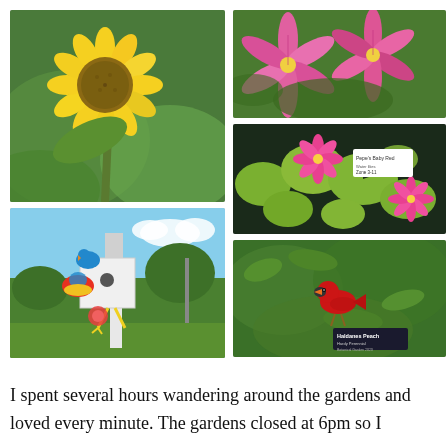[Figure (photo): A large yellow sunflower in full bloom with green leaves, photographed outdoors in a garden]
[Figure (photo): Pink stargazer lily flowers with white stripes and spots, close-up in a garden]
[Figure (photo): Water lily pond with green lily pads and bright pink water lily flowers, with a plant label sign visible]
[Figure (photo): A colorful decorative birdhouse sculpture featuring painted birds (including a blue jay and other birds), snail, on a white post with yellow legs, in a park]
[Figure (photo): A red cardinal bird perched among dense green foliage with a plant label sign reading 'Haldanes Peach']
I spent several hours wandering around the gardens and loved every minute. The gardens closed at 6pm so I